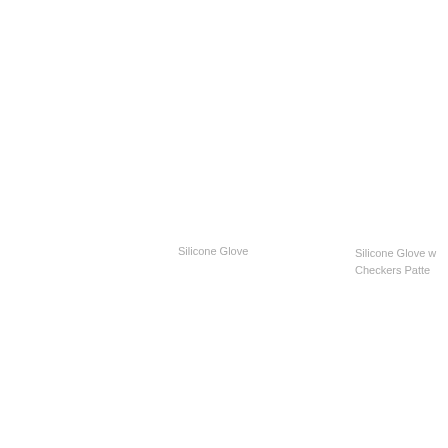Silicone Glove
Silicone Glove w Checkers Patte